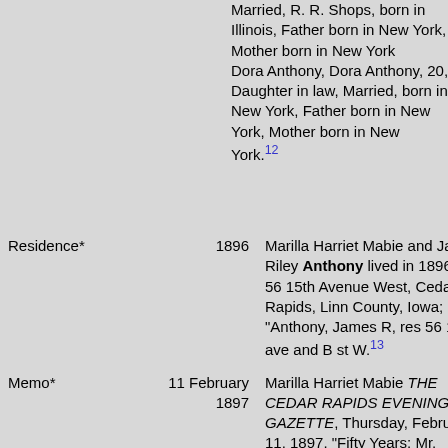Married, R. R. Shops, born in Illinois, Father born in New York, Mother born in New York Dora Anthony, Dora Anthony, 20, Daughter in law, Married, born in New York, Father born in New York, Mother born in New York. 12
| Event | Date | Description |
| --- | --- | --- |
| Residence* | 1896 | Marilla Harriet Mabie and James Riley Anthony lived in 1896 at 56 15th Avenue West, Cedar Rapids, Linn County, Iowa; "Anthony, James R, res 56 15th ave and B st W. 13 |
| Memo* | 11 February 1897 | Marilla Harriet Mabie THE CEDAR RAPIDS EVENING GAZETTE, Thursday, February 11, 1897. "Fifty Years: Mr. |